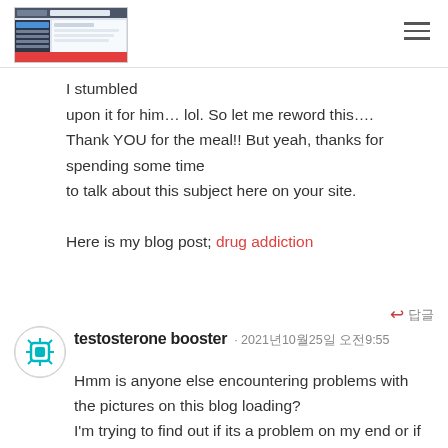[Figure (screenshot): Small screenshot thumbnail of a web browser or software interface]
I stumbled upon it for him… lol. So let me reword this…. Thank YOU for the meal!! But yeah, thanks for spending some time to talk about this subject here on your site.

Here is my blog post; drug addiction
testosterone booster · 2021년10월25일 오전9:55
Hmm is anyone else encountering problems with the pictures on this blog loading?
I'm trying to find out if its a problem on my end or if it's the